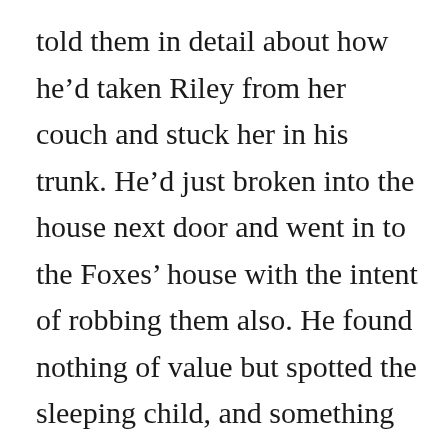told them in detail about how he'd taken Riley from her couch and stuck her in his trunk. He'd just broken into the house next door and went in to the Foxes' house with the intent of robbing them also. He found nothing of value but spotted the sleeping child, and something compelled him to snatch her. He took her to the park into a restroom where he assaulted her. At